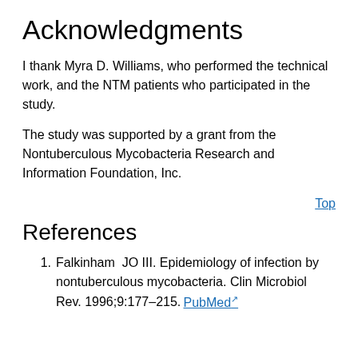Acknowledgments
I thank Myra D. Williams, who performed the technical work, and the NTM patients who participated in the study.
The study was supported by a grant from the Nontuberculous Mycobacteria Research and Information Foundation, Inc.
Top
References
Falkinham  JO III. Epidemiology of infection by nontuberculous mycobacteria. Clin Microbiol Rev. 1996;9:177–215. PubMed